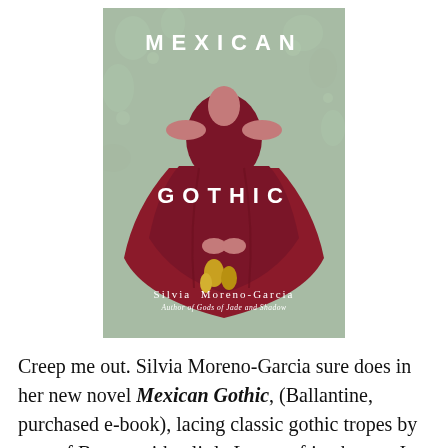[Figure (photo): Book cover of 'Mexican Gothic' by Silvia Moreno-Garcia. Green floral background with a woman in a deep red/maroon off-shoulder gown holding yellow flowers. Title 'MEXICAN GOTHIC' in white bold spaced letters at top and middle. Author name 'Silvia Moreno-Garcia' in white at bottom with subtitle 'Author of Gods of Jade and Shadow'.]
Creep me out. Silvia Moreno-Garcia sure does in her new novel Mexican Gothic, (Ballantine, purchased e-book), lacing classic gothic tropes by way of Bronte with a little Lovecraftian horror. In 1950s Mexico City, chic socialite Noemi reluctantly travels to the remote mountain villa of High Place after her newlywed